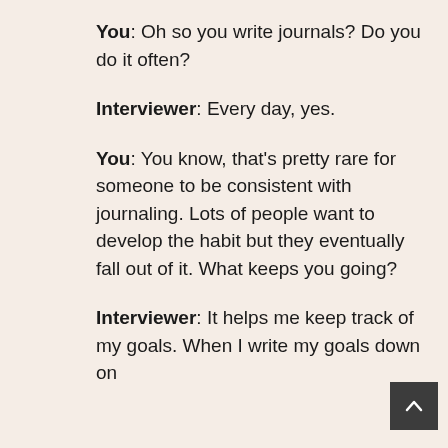You: Oh so you write journals? Do you do it often?
Interviewer: Every day, yes.
You: You know, that's pretty rare for someone to be consistent with journaling. Lots of people want to develop the habit but they eventually fall out of it. What keeps you going?
Interviewer: It helps me keep track of my goals. When I write my goals down on